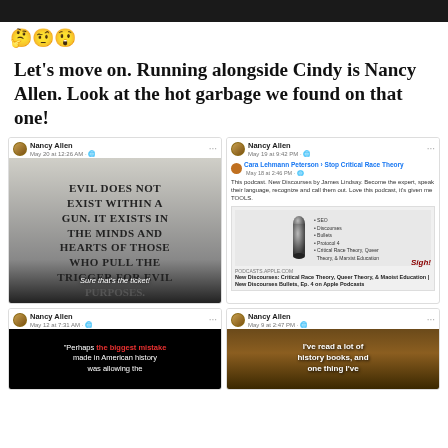[Figure (screenshot): Dark top bar]
🤔🤨😲
Let's move on. Running alongside Cindy is Nancy Allen. Look at the hot garbage we found on that one!
[Figure (screenshot): Nancy Allen Facebook post with gun quote image: EVIL DOES NOT EXIST WITHIN A GUN. IT EXISTS IN THE MINDS AND HEARTS OF THOSE WHO PULL THE TRIGGER FOR EVIL PURPOSES. Overlay text: Sure that's the ticket!]
[Figure (screenshot): Nancy Allen sharing Cara Lehmann Peterson post about New Discourses podcast by James Lindsay, Stop Critical Race Theory group. Shows bullet/podcast image. Sigh! overlay.]
[Figure (screenshot): Nancy Allen post with dark background text: Perhaps the biggest mistake made in American history was allowing the...]
[Figure (screenshot): Nancy Allen post with bookshelf background: I've read a lot of history books, and one thing I've...]